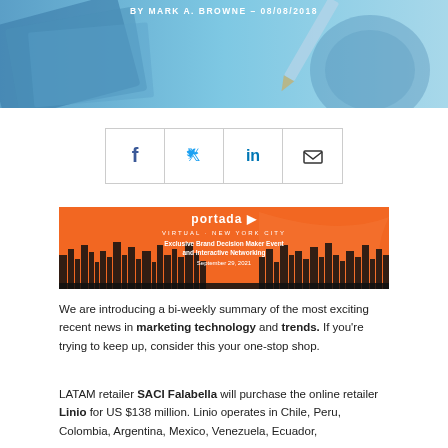[Figure (photo): Blue-toned header image with papers/documents and text overlay: BY MARK A. BROWNE - 08/08/2018]
[Figure (infographic): Social share buttons: Facebook, Twitter, LinkedIn, Email arranged in a row with borders]
[Figure (photo): Portada banner ad: orange background with New York City skyline silhouette. Text: portada, VIRTUAL - NEW YORK CITY, Exclusive Brand Decision Maker Event and Interactive Networking, September 29, 2021]
We are introducing a bi-weekly summary of the most exciting recent news in marketing technology and trends. If you're trying to keep up, consider this your one-stop shop.
LATAM retailer SACI Falabella will purchase the online retailer Linio for US $138 million. Linio operates in Chile, Peru, Colombia, Argentina, Mexico, Venezuela, Ecuador,